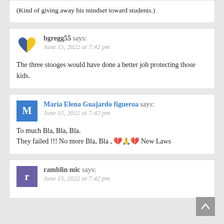(Kind of giving away his mindset toward students.)
bgregg55 says:
June 15, 2022 at 7:42 pm

The three stooges would have done a better job protecting those kids.
María Elena Guajardo figueroa says:
June 15, 2022 at 7:42 pm

To much Bla, Bla, Bla.
They failed !!! No more Bla, Bla , 💔🙏💔 New Laws
ramblin mic says:
June 15, 2022 at 7:42 pm